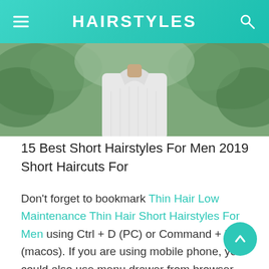HAIRSTYLES
[Figure (photo): Photo of a person in a white shirt with green foliage in the background, cropped to show torso area]
15 Best Short Hairstyles For Men 2019 Short Haircuts For
Don't forget to bookmark Thin Hair Low Maintenance Thin Hair Short Hairstyles For Men using Ctrl + D (PC) or Command + D (macos). If you are using mobile phone, you could also use menu drawer from browser. Whether it's Windows, Mac, iOs or Android, you will be able to download the images using download butt